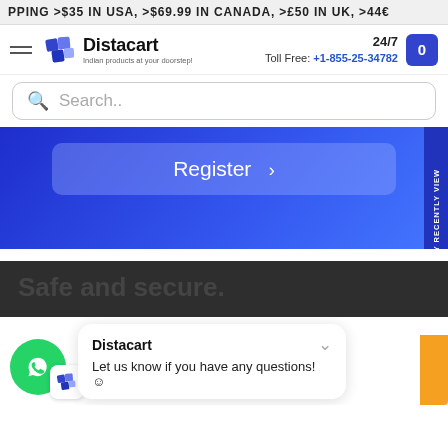PPING >$35 IN USA, >$69.99 IN CANADA, >£50 IN UK, >44€
[Figure (screenshot): Distacart website header with logo, 24/7 toll free number +1-855-25-34782, and cart button]
Search..
[Figure (screenshot): Register button on blue gradient background with side tab reading 'Sign up & say recently view']
Safe and secure.
[Figure (screenshot): Chat popup from Distacart saying 'Let us know if you have any questions!']